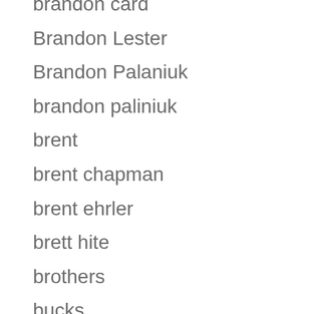brandon card
Brandon Lester
Brandon Palaniuk
brandon paliniuk
brent
brent chapman
brent ehrler
brett hite
brothers
bucks
buddha
caffiene shad
Carl